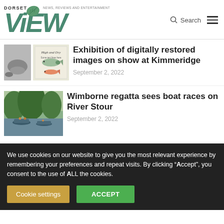DORSET ViEW — NEWS, REVIEWS AND ENTERTAINMENT
[Figure (photo): Two thumbnail images: a black-and-white nature photo and an illustrated book cover 'High and Dry']
Exhibition of digitally restored images on show at Kimmeridge
September 2, 2022
[Figure (photo): Photo of boats on River Stour with trees overhead during Wimborne regatta]
Wimborne regatta sees boat races on River Stour
September 2, 2022
We use cookies on our website to give you the most relevant experience by remembering your preferences and repeat visits. By clicking “Accept”, you consent to the use of ALL the cookies.